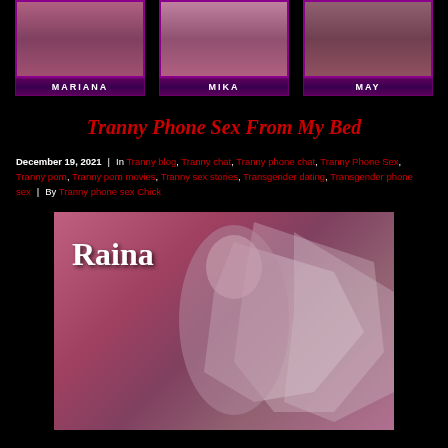[Figure (photo): Three model profile cards with purple borders showing Mariana, Mika, and May]
Tranny Phone Sex From My Bed
December 19, 2021 | In Tranny blog, Tranny chat, Tranny phone chat, Tranny Phone Sex, Tranny porn, Tranny porn movies, Tranny sex stories, Transgender dating, Transgender phone sex | By Tranny phone sex Chick
[Figure (photo): Featured model photo of Raina - blonde woman with name overlay text, pink/mauve toned photo]